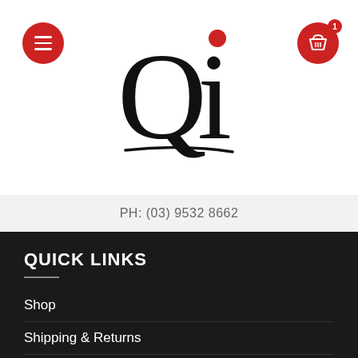[Figure (logo): Qi brand logo — large stylized Q and i letterforms in black with a red dot above the i, underlined with a brushstroke, centered in the header]
PH: (03) 9532 8662
QUICK LINKS
Shop
Shipping & Returns
Information Guides
Browsing Guide